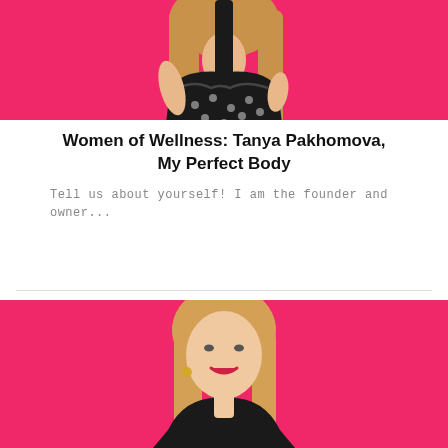[Figure (photo): Woman in black polka dot halter top against pink/magenta background, upper body visible]
Women of Wellness: Tanya Pakhomova, My Perfect Body
Tell us about yourself! I am the founder and owner...
[Figure (photo): Blonde woman with red lips and gold earrings wearing black top, against pink/magenta background]